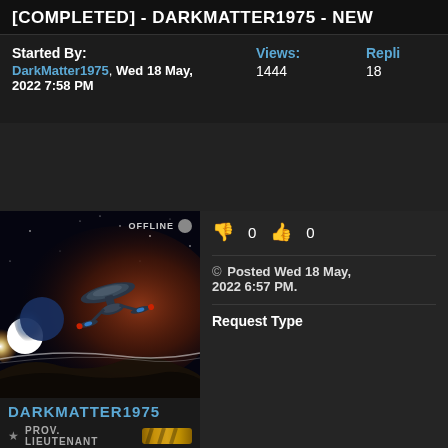[COMPLETED] - DARKMATTER1975 - NEW
Started By:
DarkMatter1975, Wed 18 May, 2022 7:58 PM
Views: 1444
Replies: 18
[Figure (photo): Star Trek style starship flying through space with a planet and nebula, with OFFLINE badge in top right corner]
DARKMATTER1975
★ PROV. LIEUTENANT [rank bar]
👎 0   👍 0
© Posted Wed 18 May, 2022 6:57 PM.
Request Type